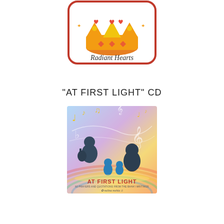[Figure (illustration): Radiant Hearts logo: a golden crown with heart shapes and happy faces on top, inside a rounded rectangle border with orange/red outline. Text 'Radiant Hearts' appears below the crown illustration.]
"AT FIRST LIGHT" CD
[Figure (illustration): CD cover for 'At First Light' showing silhouettes of a family (adults and children) in blue against a pastel rainbow background with musical notes and a treble clef. Text reads 'AT FIRST LIGHT' with subtitle '60 PRAYERS AND QUOTATIONS FROM THE BAHA'I WRITINGS' and author name below.]